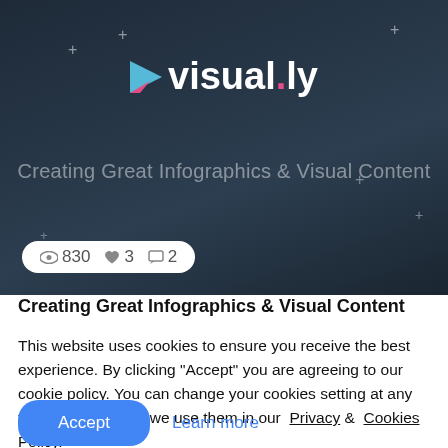[Figure (screenshot): visual.ly website header screenshot with dark navy background, visual.ly logo with pink triangle icon, subtitle 'Creating Great Infographics & Visual Content', decorative plus signs, and a stats bar showing 830 views, 3 likes, 2 comments]
Creating Great Infographics & Visual Content
This website uses cookies to ensure you receive the best experience. By clicking "Accept" you are agreeing to our cookie policy. You can change your cookies setting at any time and read how we use them in our Privacy & Cookies Policy.
Accept  Learn more